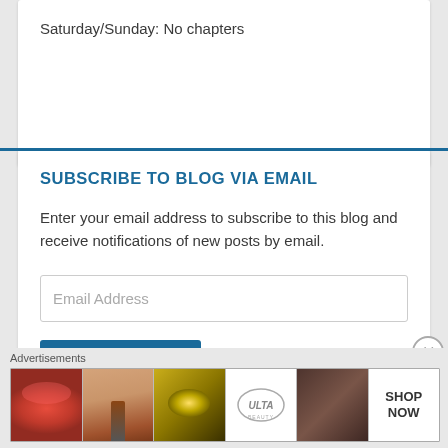Saturday/Sunday: No chapters
SUBSCRIBE TO BLOG VIA EMAIL
Enter your email address to subscribe to this blog and receive notifications of new posts by email.
Email Address
Subscribe
Advertisements
[Figure (infographic): Ulta Beauty advertisement banner showing makeup images (lips with lipstick, makeup brush, eye with eye shadow, Ulta Beauty logo, eye/eyebrow closeup) with SHOP NOW call to action]